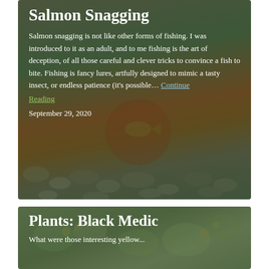Salmon Snagging
Salmon snagging is not like other forms of fishing. I was introduced to it as an adult, and to me fishing is the art of deception, of all those careful and clever tricks to convince a fish to bite. Fishing is fancy lures, artfully designed to mimic a tasty insect, or endless patience (it's possible... Continue Reading
September 29, 2020
Plants: Black Medic
What were those interesting yellow...